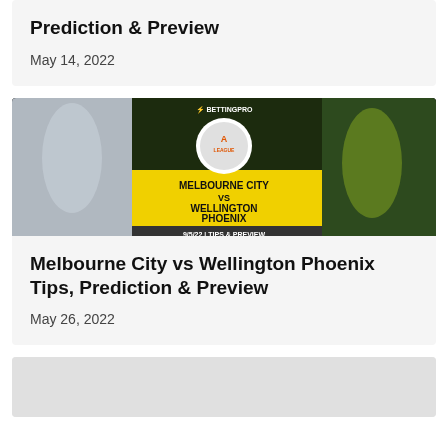Prediction & Preview
May 14, 2022
[Figure (photo): Melbourne City vs Wellington Phoenix promotional banner with two soccer players and A-League logo, text: BETTINGPRO MELBOURNE CITY VS WELLINGTON PHOENIX 9/5/22 | TIPS & PREVIEW]
Melbourne City vs Wellington Phoenix Tips, Prediction & Preview
May 26, 2022
[Figure (photo): Partial/cropped card image at bottom of page, appears to be another article thumbnail]